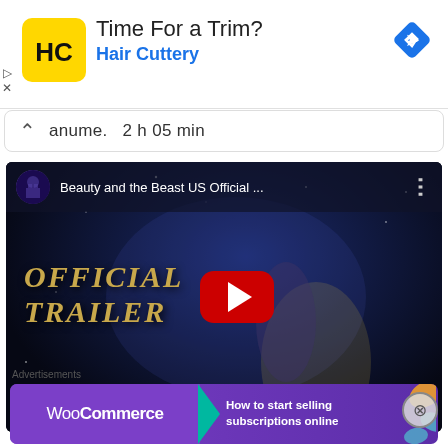[Figure (screenshot): Hair Cuttery advertisement banner with yellow/black logo, text 'Time For a Trim?' and 'Hair Cuttery', blue navigation diamond icon top right, and ad controls (play/close) on left]
anume. 2 h 05 min
[Figure (screenshot): YouTube embedded video player showing Beauty and the Beast US Official Trailer with OFFICIAL TRAILER text overlay, red YouTube play button in center, dark fantasy movie scene with dancing figures]
Advertisements
[Figure (screenshot): WooCommerce advertisement banner with purple background, teal arrow, WooCommerce logo text, and 'How to start selling subscriptions online' text with orange decorative element]